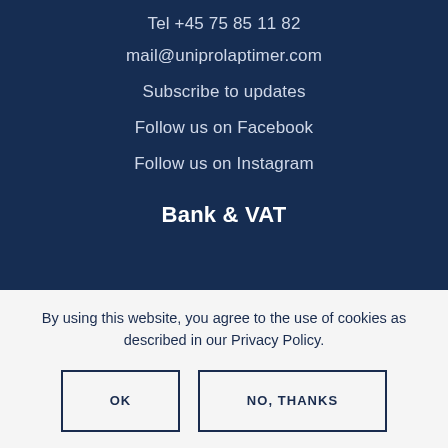Tel +45 75 85 11 82
mail@uniprolaptimer.com
Subscribe to updates
Follow us on Facebook
Follow us on Instagram
Bank & VAT
By using this website, you agree to the use of cookies as described in our Privacy Policy.
OK
NO, THANKS